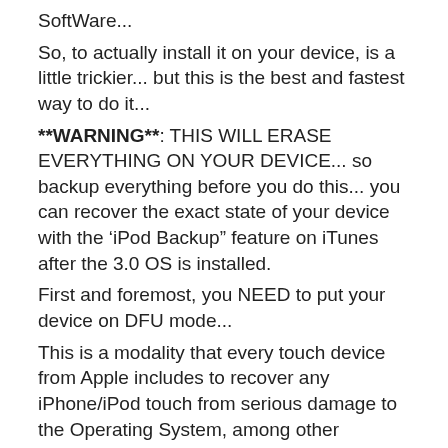SoftWare...
So, to actually install it on your device, is a little trickier... but this is the best and fastest way to do it...
**WARNING**: THIS WILL ERASE EVERYTHING ON YOUR DEVICE... so backup everything before you do this... you can recover the exact state of your device with the ‘iPod Backup” feature on iTunes after the 3.0 OS is installed.
First and foremost, you NEED to put your device on DFU mode...
This is a modality that every touch device from Apple includes to recover any iPhone/iPod touch from serious damage to the Operating System, among other things...
To do this, is a little hard, and requires a little